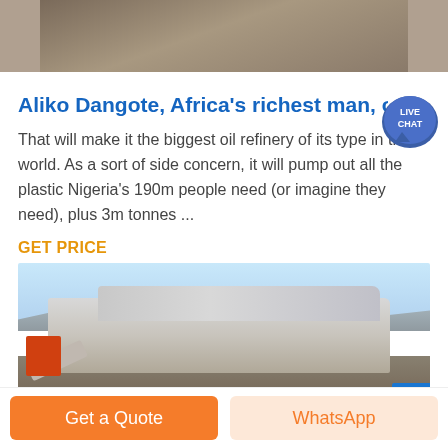[Figure (photo): Aerial/landscape photo cropped at top, showing rocky/arid terrain in muted brown and gray tones]
Aliko Dangote, Africa's richest man, on h…
That will make it the biggest oil refinery of its type in the world. As a sort of side concern, it will pump out all the plastic Nigeria's 190m people need (or imagine they need), plus 3m tonnes ...
GET PRICE
[Figure (photo): Industrial mining/crushing equipment photographed outdoors under blue sky, with mountains in the background]
Get a Quote
WhatsApp